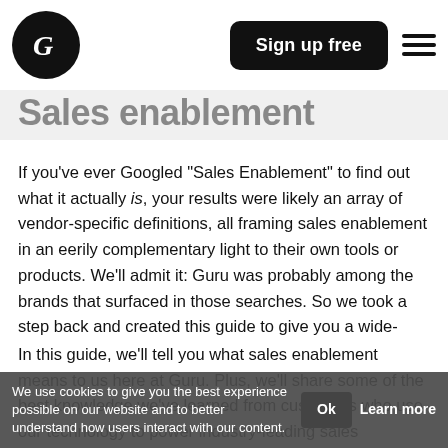Guru logo | Sign up free | Menu
Sales enablement
If you've ever Googled "Sales Enablement" to find out what it actually is, your results were likely an array of vendor-specific definitions, all framing sales enablement in an eerily complementary light to their own tools or products. We'll admit it: Guru was probably among the brands that surfaced in those searches. So we took a step back and created this guide to give you a wide-scope understanding of what sales enablement means, how to make it work, and why you should even care.
In this guide, we'll tell you what sales enablement means to us here at Guru. Plus, we'll share some of the best knowledge we've learned from customers who use our technology to power industry-leading sales enablement programs.
We use cookies to give you the best experience possible on our website and to better understand how users interact with our content.